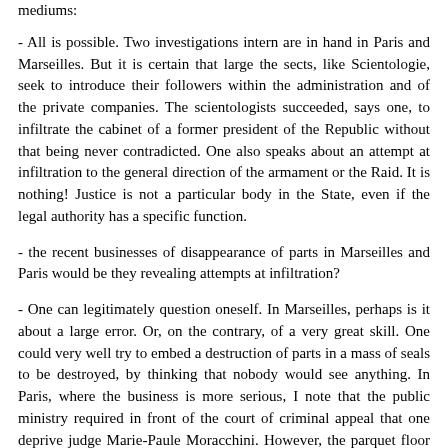mediums:
- All is possible. Two investigations intern are in hand in Paris and Marseilles. But it is certain that large the sects, like Scientologie, seek to introduce their followers within the administration and of the private companies. The scientologists succeeded, says one, to infiltrate the cabinet of a former president of the Republic without that being never contradicted. One also speaks about an attempt at infiltration to the general direction of the armament or the Raid. It is nothing! Justice is not a particular body in the State, even if the legal authority has a specific function.
- the recent businesses of disappearance of parts in Marseilles and Paris would be they revealing attempts at infiltration?
- One can legitimately question oneself. In Marseilles, perhaps is it about a large error. Or, on the contrary, of a very great skill. One could very well try to embed a destruction of parts in a mass of seals to be destroyed, by thinking that nobody would see anything. In Paris, where the business is more serious, I note that the public ministry required in front of the court of criminal appeal that one deprive judge Marie-Paule Moracchini. However, the parquet floor does not engage in an operation of dispossession without arguments. That appears obvious. I make a point of adding to these two businesses a third, which one has tendency to forget: the suspect visit of the computer of the old Observatory on the sects.